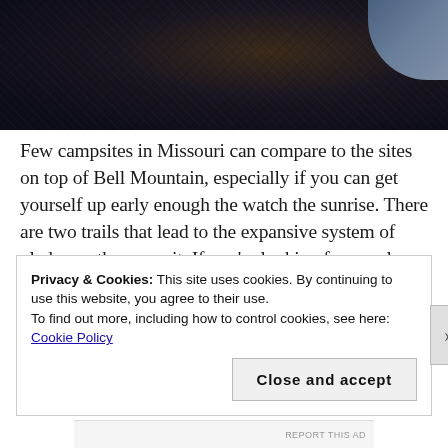[Figure (photo): Dark rocky mountain landscape photo with a lighter sky visible in the upper right corner]
Few campsites in Missouri can compare to the sites on top of Bell Mountain, especially if you can get yourself up early enough the watch the sunrise. There are two trails that lead to the expansive system of glades on the summit. If you’re looking for a real challenge, start at the Highway A Trailhead and climb up the backside of the mountain. But make sure to pack plenty water. This is a
Privacy & Cookies: This site uses cookies. By continuing to use this website, you agree to their use.
To find out more, including how to control cookies, see here: Cookie Policy
Close and accept